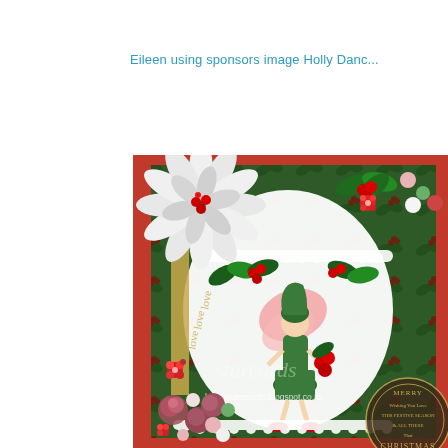Eileen using sponsors image Holly Danc...
[Figure (photo): Close-up of a handmade Christmas card featuring a fairy/elf figure surrounded by holly, berries, red poinsettia flowers, white lace doily, decorative roses, and a 'Merry Christmas' sentiment stamp. Red card base with gold accents and URL watermark 'http://starecards.blogspot.co.uk']